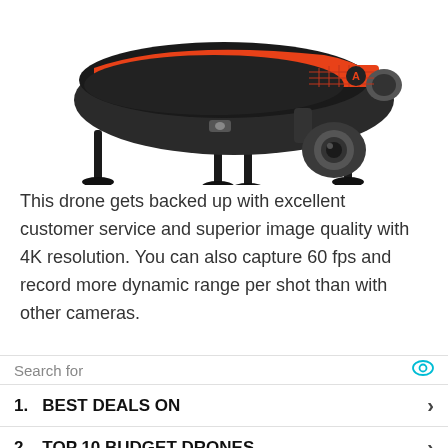[Figure (photo): Orange and black drone (Autel Robotics EVO or similar) with camera gimbal, viewed from a front-side angle against a white background.]
This drone gets backed up with excellent customer service and superior image quality with 4K resolution. You can also capture 60 fps and record more dynamic range per shot than with other cameras.
Search for
1. BEST DEALS ON
2. TOP 10 BUDGET DRONES
Ad | Business Focus